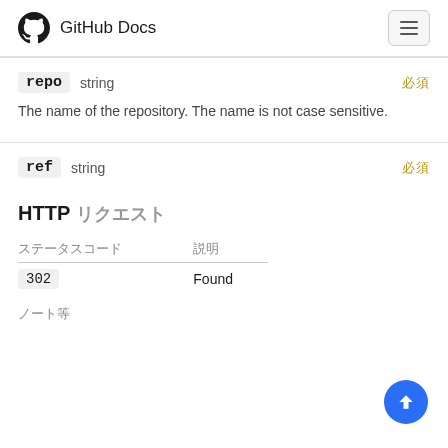GitHub Docs
repo  string  ¶
The name of the repository. The name is not case sensitive.
ref  string  ¶
HTTP リエクエスト
| ステータスコード | 説明 |
| --- | --- |
| 302 | Found |
ノート等